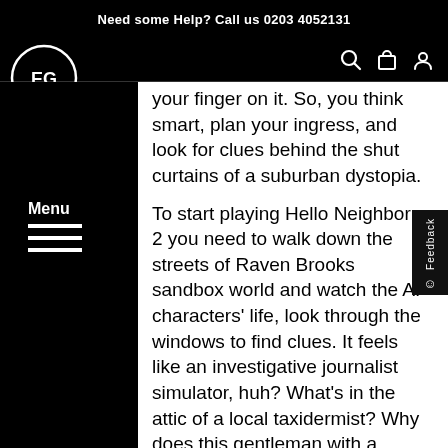Need some Help? Call us 0203 4052131
[Figure (logo): EG logo in white circle on black background]
your finger on it. So, you think smart, plan your ingress, and look for clues behind the shut curtains of a suburban dystopia.
To start playing Hello Neighbor 2 you need to walk down the streets of Raven Brooks sandbox world and watch the AI characters' life, look through the windows to find clues. It feels like an investigative journalist simulator, huh? What's in the attic of a local taxidermist? Why does this gentleman with a moustache go down to the amusement park every night? Which secrets does the mayor's study hold? These are just a